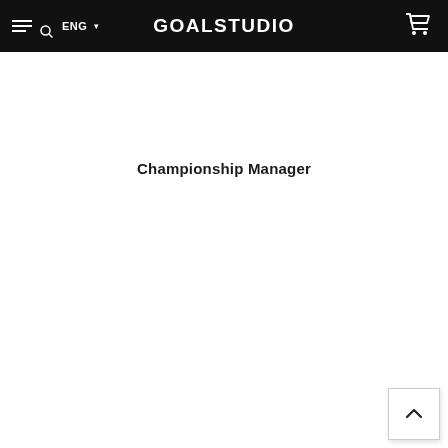GOALSTUDIO
Championship Manager